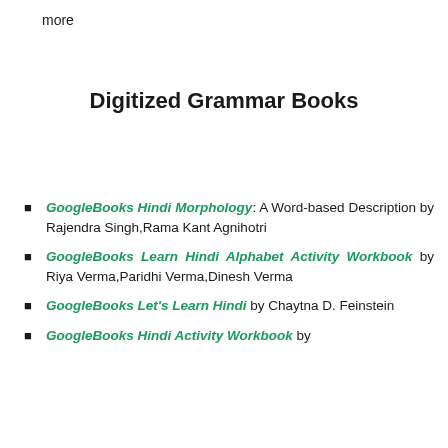more
Digitized Grammar Books
GoogleBooks Hindi Morphology: A Word-based Description by Rajendra Singh,Rama Kant Agnihotri
GoogleBooks Learn Hindi Alphabet Activity Workbook by Riya Verma,Paridhi Verma,Dinesh Verma
GoogleBooks Let's Learn Hindi by Chaytna D. Feinstein
GoogleBooks Hindi Activity Workbook by